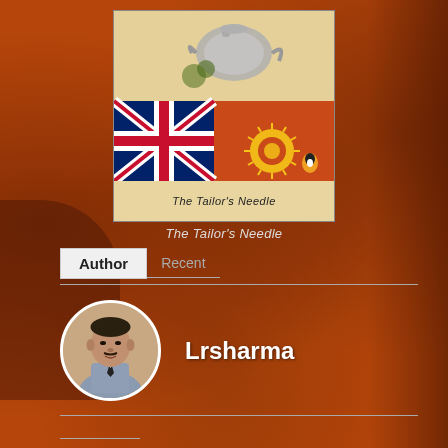[Figure (illustration): Book cover for 'The Tailor's Needle' showing a British India flag (Union Jack combined with red field and Star of India) with a silver teapot above it on a vintage beige background, Penguin Books logo visible]
The Tailor's Needle
Author   Recent
[Figure (photo): Circular profile photo of a middle-aged Indian man in a grey suit and dark tie, against a light background]
Lrsharma